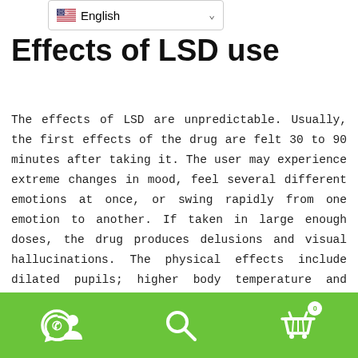[Figure (screenshot): Language selector dropdown showing US flag and 'English' with a chevron arrow]
Effects of LSD use
The effects of LSD are unpredictable. Usually, the first effects of the drug are felt 30 to 90 minutes after taking it. The user may experience extreme changes in mood, feel several different emotions at once, or swing rapidly from one emotion to another. If taken in large enough doses, the drug produces delusions and visual hallucinations. The physical effects include dilated pupils; higher body temperature and sweating; nausea and loss of appetite;
[Figure (screenshot): Green bottom navigation bar with WhatsApp icon, user icon, search icon, and shopping cart icon with badge showing 0]